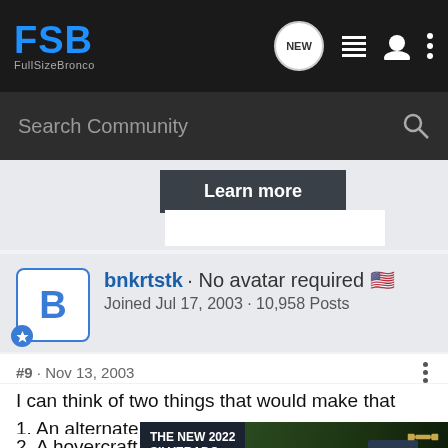FSB FullSizeBronco — navigation bar with Search Community
Learn more
bnkrtstk · No avatar required 🇺🇸
Joined Jul 17, 2003 · 10,958 Posts
#9 · Nov 13, 2003
I can think of two things that would make that ride better:
1. An alternate route
2. A hovercraft
:goodfinge
[Figure (photo): Advertisement for The New 2022 Silverado by Chevrolet with Explore button]